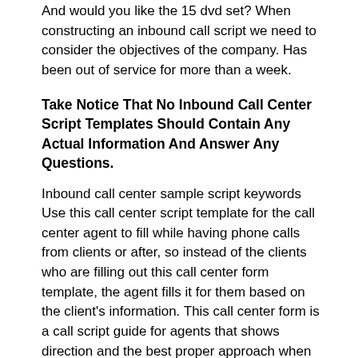And would you like the 15 dvd set? When constructing an inbound call script we need to consider the objectives of the company. Has been out of service for more than a week.
Take Notice That No Inbound Call Center Script Templates Should Contain Any Actual Information And Answer Any Questions.
Inbound call center sample script keywords Use this call center script template for the call center agent to fill while having phone calls from clients or after, so instead of the clients who are filling out this call center form template, the agent fills it for them based on the client's information. This call center form is a call script guide for agents that shows direction and the best proper approach when handling clients.
Call Center Scripting Helps Create A Consistent Omnichannel Experience Across Platforms, Since All Customer Service Channels Operate Off The Same Information.